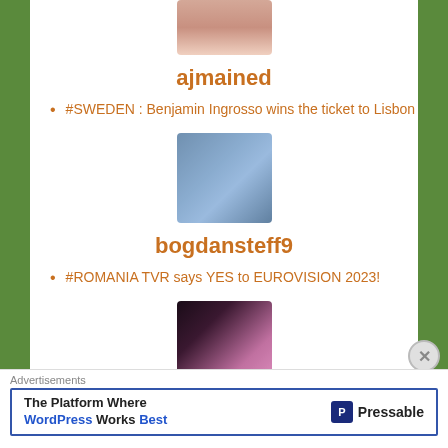[Figure (photo): Partial avatar photo of user ajmained at top, cropped]
ajmained
#SWEDEN : Benjamin Ingrosso wins the ticket to Lisbon
[Figure (photo): Avatar photo of user bogdansteff9, man with beard]
bogdansteff9
#ROMANIA TVR says YES to EUROVISION 2023!
[Figure (photo): Avatar photo of user clishbulsadley, woman with dark hair]
clishbulsadley
Advertisements
The Platform Where WordPress Works Best — Pressable